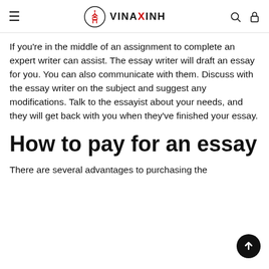≡  VINA XINH  🔍 🔒
If you're in the middle of an assignment to complete an expert writer can assist. The essay writer will draft an essay for you. You can also communicate with them. Discuss with the essay writer on the subject and suggest any modifications. Talk to the essayist about your needs, and they will get back with you when they've finished your essay.
How to pay for an essay
There are several advantages to purchasing the